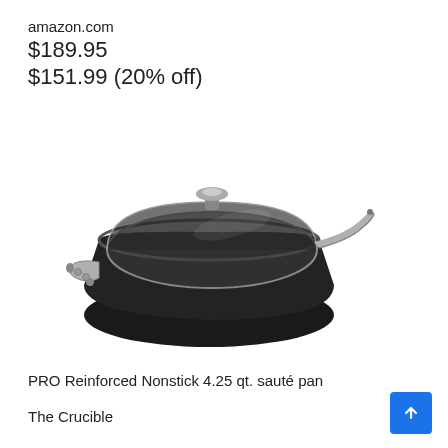amazon.com
$189.95
$151.99 (20% off)
[Figure (photo): PRO Reinforced Nonstick 4.25 qt. sauté pan with glass lid and stainless steel handle, shown in black hard-anodized finish]
PRO Reinforced Nonstick 4.25 qt. sauté pan
The Crucible